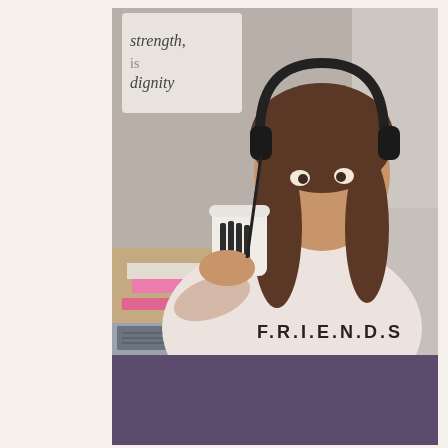[Figure (photo): A woman wearing headphones and a pink FRIENDS sweatshirt drinking from a Starbucks cup, seated near a desk with books and a laptop. A wall sign reads 'strength dignity' in the background.]
[Figure (other): Solid muted purple/mauve rectangle block at the bottom of the page.]